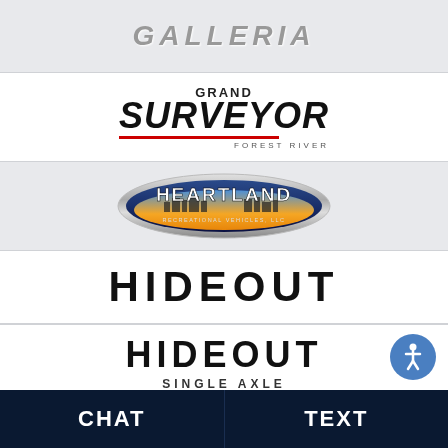[Figure (logo): GALLERIA italic bold gray metallic lettering logo]
[Figure (logo): Grand Surveyor Forest River logo with red underline]
[Figure (logo): Heartland RV oval badge logo with city skyline and yellow/blue gradient]
[Figure (logo): HIDEOUT bold black uppercase lettering logo]
[Figure (logo): HIDEOUT SINGLE AXLE bold black uppercase lettering logo]
[Figure (logo): INCEPTION italic bold black uppercase lettering logo with TM mark]
CHAT
TEXT